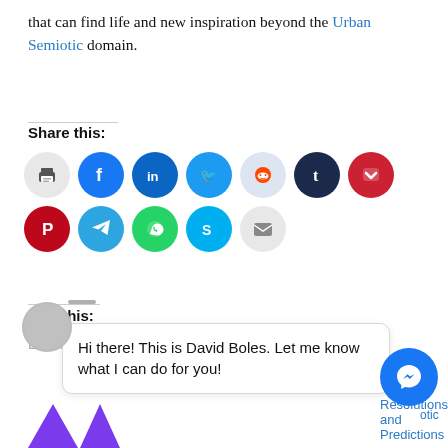that can find life and new inspiration beyond the Urban Semiotic domain.
Share this:
[Figure (infographic): Row of social media share icon circles: print, Facebook, LinkedIn, Twitter, Reddit, Tumblr, Pocket, Pinterest, Telegram, WhatsApp, Skype, Email]
Like this:
Loading...
[Figure (infographic): Chat bubble from David Boles messenger widget with text: Hi there! This is David Boles. Let me know what I can do for you! Accompanied by a Messenger icon button.]
Resolutions and Predictions